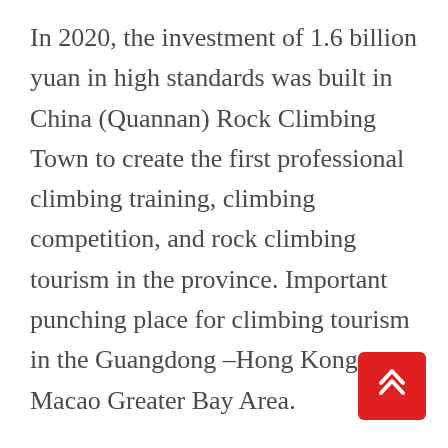In 2020, the investment of 1.6 billion yuan in high standards was built in China (Quannan) Rock Climbing Town to create the first professional climbing training, climbing competition, and rock climbing tourism in the province. Important punching place for climbing tourism in the Guangdong –Hong Kong –Macao Greater Bay Area.
The 860 acres of rock climbing town, with standardized outdoor rock climbing venues and various difficult indoor climbing experience walls. There